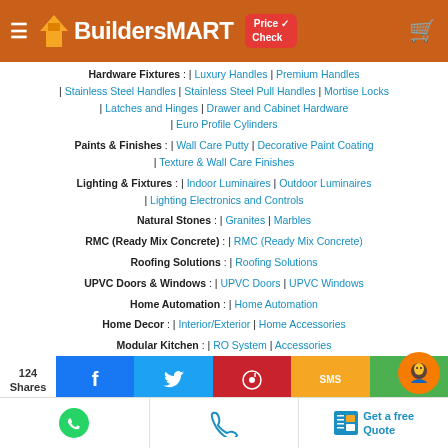BuildersMART | Price Check
Hardware Fixtures : | Luxury Handles | Premium Handles | Stainless Steel Handles | Stainless Steel Pull Handles | Mortise Locks | Latches and Hinges | Drawer and Cabinet Hardware | Euro Profile Cylinders
Paints & Finishes : | Wall Care Putty | Decorative Paint Coating | Texture & Wall Care Finishes
Lighting & Fixtures : | Indoor Luminaires | Outdoor Luminaires | Lighting Electronics and Controls
Natural Stones : | Granites | Marbles
RMC (Ready Mix Concrete) : | RMC (Ready Mix Concrete)
Roofing Solutions : | Roofing Solutions
UPVC Doors & Windows : | UPVC Doors | UPVC Windows
Home Automation : | Home Automation
Home Decor : | Interior/Exterior | Home Accessories
Modular Kitchen : | RO System | Accessories
Glass Hardware : | Glass Hardware
124 Shares | Facebook | Twitter | Pinterest | SMS | Share